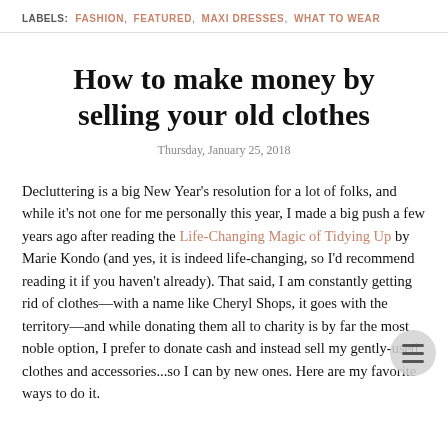LABELS: FASHION, FEATURED, MAXI DRESSES, WHAT TO WEAR
How to make money by selling your old clothes
Thursday, January 25, 2018
Decluttering is a big New Year's resolution for a lot of folks, and while it's not one for me personally this year, I made a big push a few years ago after reading the Life-Changing Magic of Tidying Up by Marie Kondo (and yes, it is indeed life-changing, so I'd recommend reading it if you haven't already). That said, I am constantly getting rid of clothes—with a name like Cheryl Shops, it goes with the territory—and while donating them all to charity is by far the most noble option, I prefer to donate cash and instead sell my gently-used clothes and accessories...so I can by new ones. Here are my favorite ways to do it.